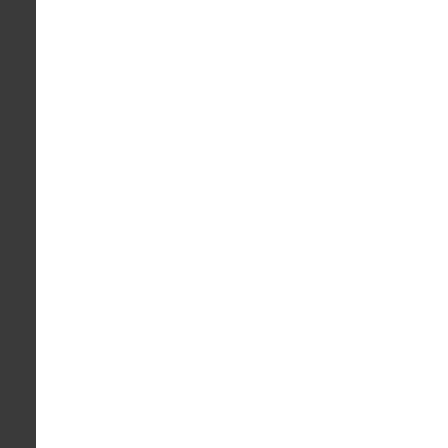Job 19: This is arguably the fi most memorable profession o
Up to this point in the book, J mystery of his sufferings, and present chapter. Thus, he spea conscience (6:30; 9:29; 10:7; 13:23; 16:21), his sense of Go desire for God's vindication o theme, Job's desire for God's the chapter.
Job begins by wondering why his predicament (19:4). Are th theories? What, after all, do th not them, and the problem is his sufferings do not come fro supposes (cf. 18:5–10), but fr
Indeed, it was God who sent